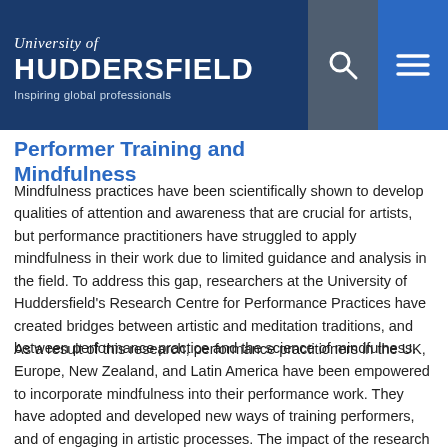University of Huddersfield — Inspiring global professionals
Performer Training and Mindfulness
Mindfulness practices have been scientifically shown to develop qualities of attention and awareness that are crucial for artists, but performance practitioners have struggled to apply mindfulness in their work due to limited guidance and analysis in the field. To address this gap, researchers at the University of Huddersfield's Research Centre for Performance Practices have created bridges between artistic and meditation traditions, and between performance practice and the science of mindfulness.
As a result of this research, performance practitioners in the UK, Europe, New Zealand, and Latin America have been empowered to incorporate mindfulness into their performance work. They have adopted and developed new ways of training performers, and of engaging in artistic processes. The impact of the research also